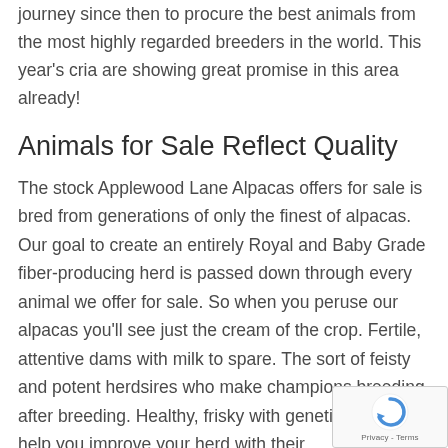journey since then to procure the best animals from the most highly regarded breeders in the world. This year's cria are showing great promise in this area already!
Animals for Sale Reflect Quality
The stock Applewood Lane Alpacas offers for sale is bred from generations of only the finest of alpacas. Our goal to create an entirely Royal and Baby Grade fiber-producing herd is passed down through every animal we offer for sale. So when you peruse our alpacas you'll see just the cream of the crop. Fertile, attentive dams with milk to spare. The sort of feisty and potent herdsires who make champions breeding after breeding. Healthy, frisky with genetics that will help you improve your herd with their
[Figure (other): Google reCAPTCHA badge with spinning arrow icon and Privacy - Terms text]